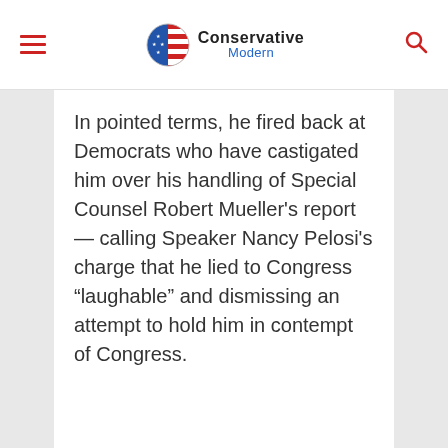Conservative Modern
In pointed terms, he fired back at Democrats who have castigated him over his handling of Special Counsel Robert Mueller’s report — calling Speaker Nancy Pelosi’s charge that he lied to Congress “laughable” and dismissing an attempt to hold him in contempt of Congress.